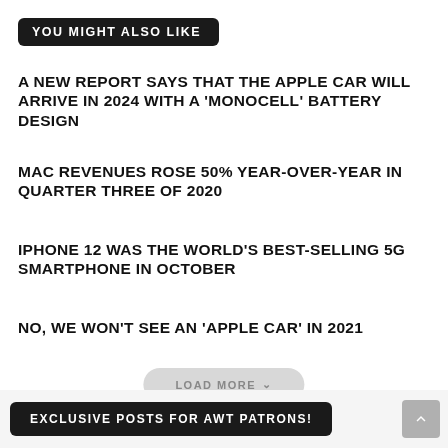YOU MIGHT ALSO LIKE
A NEW REPORT SAYS THAT THE APPLE CAR WILL ARRIVE IN 2024 WITH A 'MONOCELL' BATTERY DESIGN
MAC REVENUES ROSE 50% YEAR-OVER-YEAR IN QUARTER THREE OF 2020
IPHONE 12 WAS THE WORLD'S BEST-SELLING 5G SMARTPHONE IN OCTOBER
NO, WE WON'T SEE AN 'APPLE CAR' IN 2021
LOAD MORE ˅
EXCLUSIVE POSTS FOR AWT PATRONS!